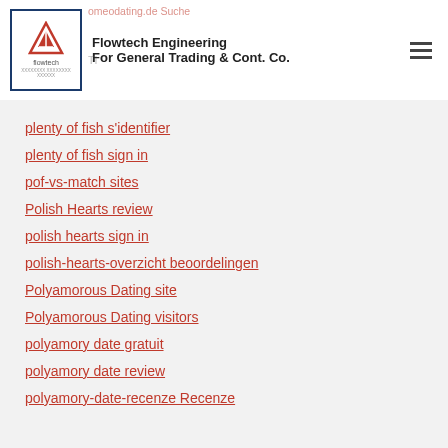Flowtech Engineering For General Trading & Cont. Co.
plenty of fish s'identifier
plenty of fish sign in
pof-vs-match sites
Polish Hearts review
polish hearts sign in
polish-hearts-overzicht beoordelingen
Polyamorous Dating site
Polyamorous Dating visitors
polyamory date gratuit
polyamory date review
polyamory-date-recenze Recenze